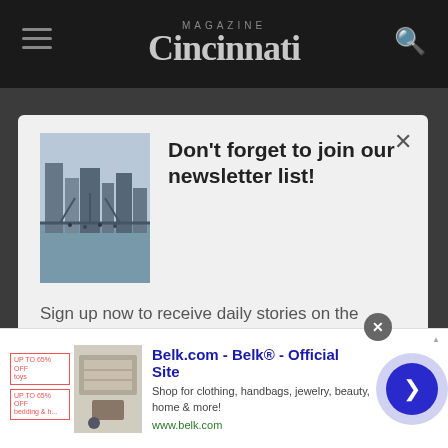Cincinnati Magazine
Don't forget to join our newsletter list!
Sign up now to receive daily stories on the important news, people, events, food, retail, and real estate shaping our city.
Sign me up!
Belk.com - Belk® - Official Site
Shop for clothing, handbags, jewelry, beauty, home & more!
www.belk.com